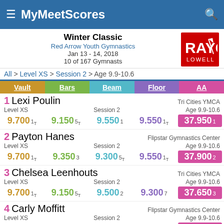MyMeetScores
Winter Classic
Red Arrow Youth Gymnastics
Jan 13 - 14, 2018
10 of 167 Gymnasts
[Figure (logo): RAYG Lowell logo in red box]
All > Level XS > Session 2 > Age 9.9-10.6
| Vault | Bars | Beam | Floor | AA |
| --- | --- | --- | --- | --- |
| 1 Lexi Poulin |  |  |  | Tri Cities YMCA |
| Level XS |  | Session 2 |  | Age 9.9-10.6 |
| 9.700 1T | 9.150 5T | 9.550 1 | 9.550 1T | 37.950 1 |
| 2 Payton Hanes |  |  |  | Flipstar Gymnastics Center |
| Level XS |  | Session 2 |  | Age 9.9-10.6 |
| 9.700 1T | 9.350 3 | 9.300 5T | 9.550 1T | 37.900 2 |
| 3 Chelsea Leenhouts |  |  |  | Tri Cities YMCA |
| Level XS |  | Session 2 |  | Age 9.9-10.6 |
| 9.700 1T | 9.150 5T | 9.500 2 | 9.300 7 | 37.650 3 |
| 4 Carly Moffitt |  |  |  | Flipstar Gymnastics Center |
| Level XS |  | Session 2 |  | Age 9.9-10.6 |
| 9.300 8T | 9.450 2 | 9.400 4 | 9.400 4 | 37.550 4 |
| 5 Callie Brousseau |  |  |  | Alpena Gymnastics |